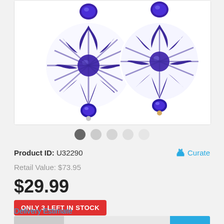[Figure (photo): Two blue and white patterned round earrings with blue crystal beads on white background]
Product ID: U32290
Curate
Retail Value: $73.95
$29.99
ONLY 3 LEFT IN STOCK
Delivery Estimate